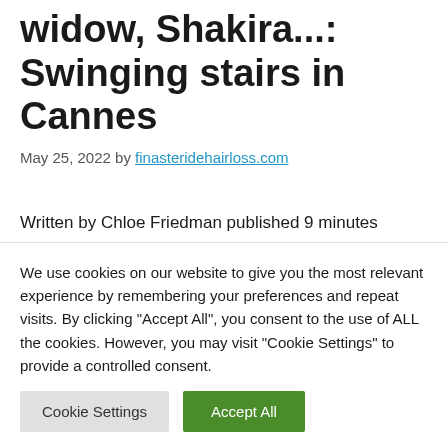widow, Shakira...: Swinging stairs in Cannes
May 25, 2022 by finasteridehairloss.com
Written by Chloe Friedman published 9 minutes agoAnd Update There are 3 minutes Shakira climbed the steps of the Cannes Film
We use cookies on our website to give you the most relevant experience by remembering your preferences and repeat visits. By clicking "Accept All", you consent to the use of ALL the cookies. However, you may visit "Cookie Settings" to provide a controlled consent.